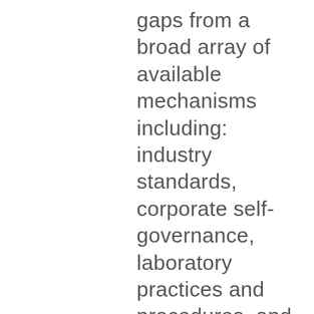gaps from a broad array of available mechanisms including: industry standards, corporate self-governance, laboratory practices and procedures, and